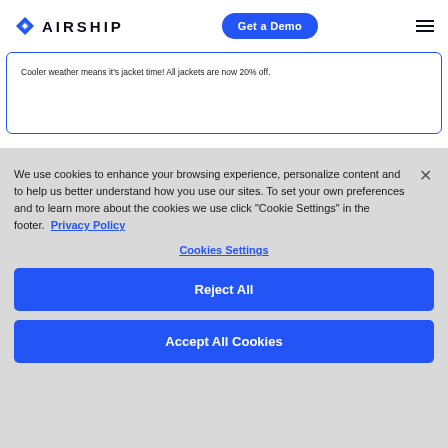AIRSHIP | Get a Demo
Cooler weather means it's jacket time! All jackets are now 20% off.
We use cookies to enhance your browsing experience, personalize content and to help us better understand how you use our sites. To set your own preferences and to learn more about the cookies we use click "Cookie Settings" in the footer. Privacy Policy
Cookies Settings
Reject All
Accept All Cookies